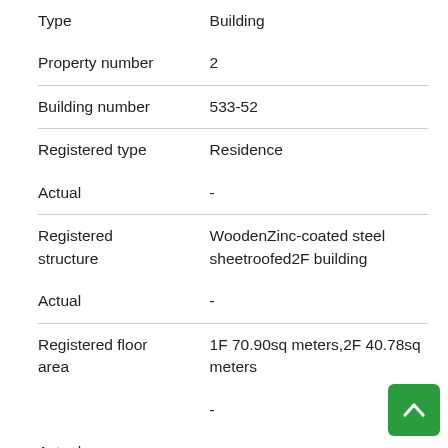| Field | Value |
| --- | --- |
| Type | Building |
| Property number | 2 |
| Building number | 533-52 |
| Registered type | Residence |
| Actual | - |
| Registered structure | WoodenZinc-coated steel sheetroofed2F building |
| Actual | - |
| Registered floor area | 1F 70.90sq meters,2F 40.78sq meters |
| Actual | - |
| Layout | 3LDK |
| Land right | Ownership |